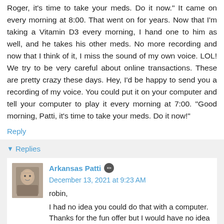Roger, it's time to take your meds. Do it now." It came on every morning at 8:00. That went on for years. Now that I'm taking a Vitamin D3 every morning, I hand one to him as well, and he takes his other meds. No more recording and now that I think of it, I miss the sound of my own voice. LOL! We try to be very careful about online transactions. These are pretty crazy these days. Hey, I'd be happy to send you a recording of my voice. You could put it on your computer and tell your computer to play it every morning at 7:00. "Good morning, Patti, it's time to take your meds. Do it now!"
Reply
Replies
Arkansas Patti  December 13, 2021 at 9:23 AM
robin,
I had no idea you could do that with a computer. Thanks for the fun offer but I would have no idea how to do it.
Like I told others, I mute Echo during the day